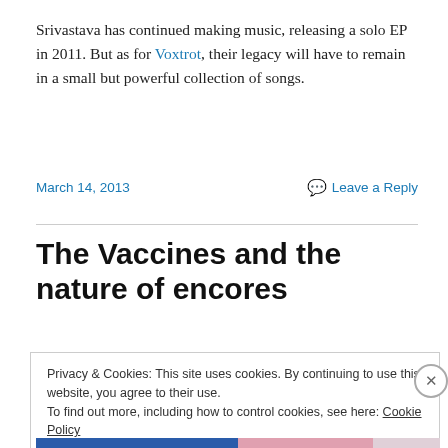Srivastava has continued making music, releasing a solo EP in 2011. But as for Voxtrot, their legacy will have to remain in a small but powerful collection of songs.
March 14, 2013    Leave a Reply
The Vaccines and the nature of encores
Privacy & Cookies: This site uses cookies. By continuing to use this website, you agree to their use.
To find out more, including how to control cookies, see here: Cookie Policy
Close and accept